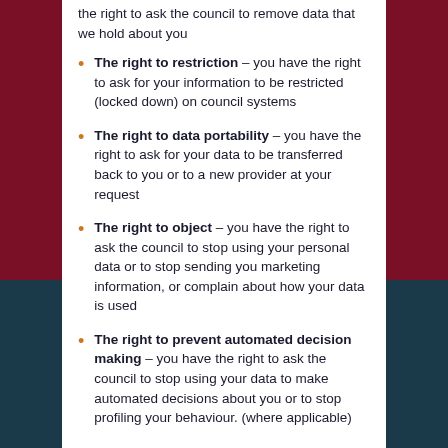the right to ask the council to remove data that we hold about you
The right to restriction – you have the right to ask for your information to be restricted (locked down) on council systems
The right to data portability – you have the right to ask for your data to be transferred back to you or to a new provider at your request
The right to object – you have the right to ask the council to stop using your personal data or to stop sending you marketing information, or complain about how your data is used
The right to prevent automated decision making – you have the right to ask the council to stop using your data to make automated decisions about you or to stop profiling your behaviour. (where applicable)
To find out more about your rights under the GDPR, please visit the Information Commissioner's website.